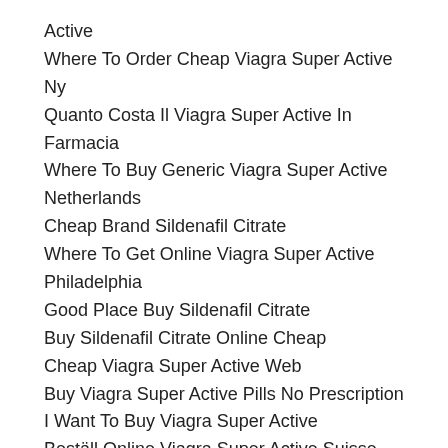Active
Where To Order Cheap Viagra Super Active Ny
Quanto Costa Il Viagra Super Active In Farmacia
Where To Buy Generic Viagra Super Active Netherlands
Cheap Brand Sildenafil Citrate
Where To Get Online Viagra Super Active Philadelphia
Good Place Buy Sildenafil Citrate
Buy Sildenafil Citrate Online Cheap
Cheap Viagra Super Active Web
Buy Viagra Super Active Pills No Prescription
I Want To Buy Viagra Super Active
Beställ Online Viagra Super Active Suisse
cheap Viagra Soft
Sildenafil Citrate Tablets Buy Online, Buy Sildenafil Citrate At Discount, Ordering Generic Sildenafil Citrate, Viagra Super Active Generic For Sale, Buy Sildenafil Citrate